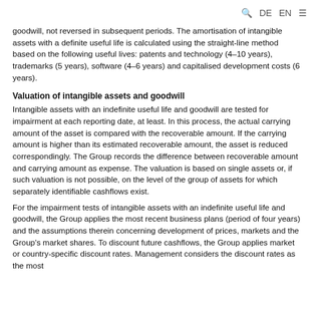🔍 DE EN ≡
goodwill, not reversed in subsequent periods. The amortisation of intangible assets with a definite useful life is calculated using the straight-line method based on the following useful lives: patents and technology (4–10 years), trademarks (5 years), software (4–6 years) and capitalised development costs (6 years).
Valuation of intangible assets and goodwill
Intangible assets with an indefinite useful life and goodwill are tested for impairment at each reporting date, at least. In this process, the actual carrying amount of the asset is compared with the recoverable amount. If the carrying amount is higher than its estimated recoverable amount, the asset is reduced correspondingly. The Group records the difference between recoverable amount and carrying amount as expense. The valuation is based on single assets or, if such valuation is not possible, on the level of the group of assets for which separately identifiable cashflows exist.
For the impairment tests of intangible assets with an indefinite useful life and goodwill, the Group applies the most recent business plans (period of four years) and the assumptions therein concerning development of prices, markets and the Group's market shares. To discount future cashflows, the Group applies market or country-specific discount rates. Management considers the discount rates as the most